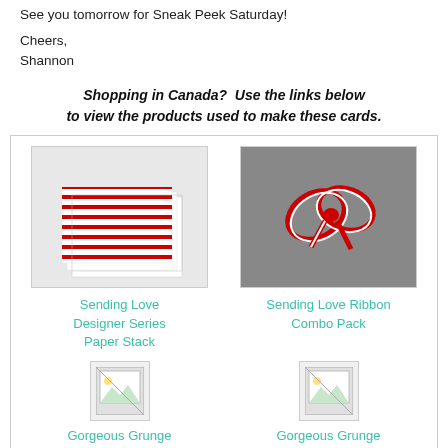See you tomorrow for Sneak Peek Saturday!
Cheers,
Shannon
Shopping in Canada?  Use the links below to view the products used to make these cards.
[Figure (photo): Photo of Sending Love Designer Series Paper Stack — red and white striped/patterned paper sheets fanned out]
Sending Love Designer Series Paper Stack
[Figure (photo): Photo of Sending Love Ribbon Combo Pack — red and white ribbon tied in a bow on grey background]
Sending Love Ribbon Combo Pack
[Figure (photo): Small placeholder/broken image for Gorgeous Grunge Clear Mount Stamp]
Gorgeous Grunge Clear Mount Stamp
[Figure (photo): Small placeholder/broken image for Gorgeous Grunge Wood Mount Stamp]
Gorgeous Grunge Wood Mount Stamp